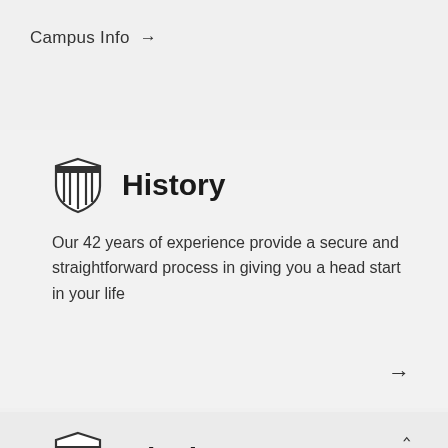Campus Info →
History
Our 42 years of experience provide a secure and straightforward process in giving you a head start in your life
Mission
We prepare you to launch your career by